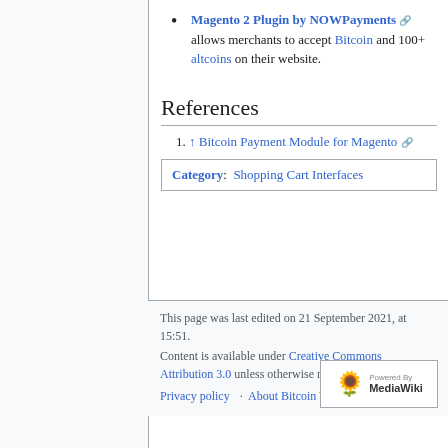Magento 2 Plugin by NOWPayments allows merchants to accept Bitcoin and 100+ altcoins on their website.
References
↑ Bitcoin Payment Module for Magento
Category: Shopping Cart Interfaces
This page was last edited on 21 September 2021, at 15:51.
Content is available under Creative Commons Attribution 3.0 unless otherwise noted.
Privacy policy · About Bitcoin Wiki · Disclaimers